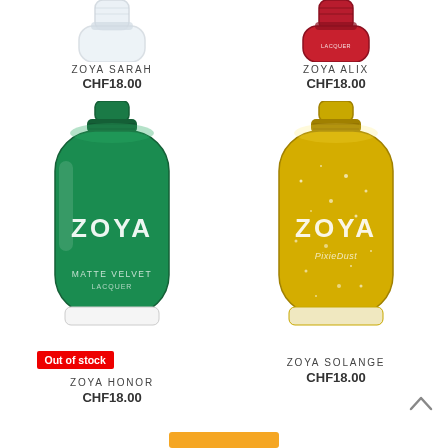[Figure (photo): Top of a clear/pale nail polish bottle for ZOYA SARAH, partially cropped at top]
[Figure (photo): Top of a red nail polish bottle for ZOYA ALIX, partially cropped at top]
ZOYA SARAH
CHF18.00
ZOYA ALIX
CHF18.00
[Figure (photo): Green Zoya Matte Velvet Lacquer nail polish bottle (ZOYA HONOR) with 'Out of stock' badge]
[Figure (photo): Gold glitter Zoya PixieDust nail polish bottle (ZOYA SOLANGE)]
ZOYA HONOR
CHF18.00
ZOYA SOLANGE
CHF18.00